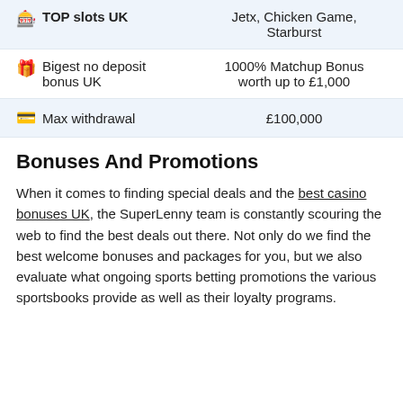| Feature | Value |
| --- | --- |
| 🎰 TOP slots UK | Jetx, Chicken Game, Starburst |
| 🎁 Bigest no deposit bonus UK | 1000% Matchup Bonus worth up to £1,000 |
| 💳 Max withdrawal | £100,000 |
Bonuses And Promotions
When it comes to finding special deals and the best casino bonuses UK, the SuperLenny team is constantly scouring the web to find the best deals out there. Not only do we find the best welcome bonuses and packages for you, but we also evaluate what ongoing sports betting promotions the various sportsbooks provide as well as their loyalty programs.